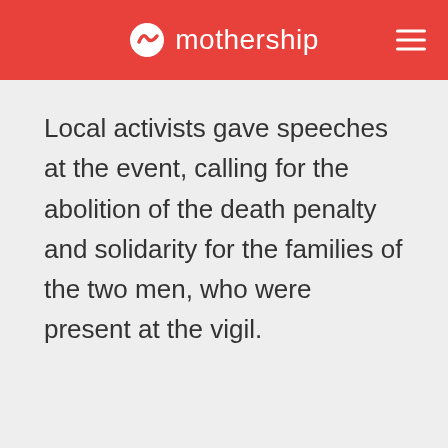mothership
Local activists gave speeches at the event, calling for the abolition of the death penalty and solidarity for the families of the two men, who were present at the vigil.